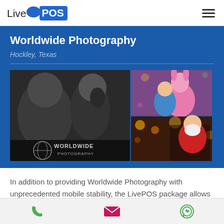[Figure (logo): LivePOS logo with cloud icon above the O in POS]
[Figure (photo): Photo collage for Worldwide Photography showing Santa with child, Easter bunny character with child, Christmas lights, and Santa in chair]
Worldwide Photography
Hockley, Texas
In addition to providing Worldwide Photography with unprecedented mobile stability, the LivePOS package allows Alex to worked closely with the support team to design customizations that will improve his
Phone, Email, WhatsApp icons